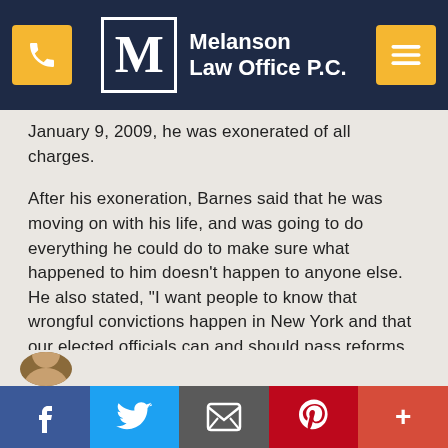[Figure (logo): Melanson Law Office P.C. website header with logo, firm name, phone button, and menu button on dark navy background]
January 9, 2009, he was exonerated of all charges.
After his exoneration, Barnes said that he was moving on with his life, and was going to do everything he could do to make sure what happened to him doesn’t happen to anyone else. He also stated, “I want people to know that wrongful convictions happen in New York and that our elected officials can and should pass reforms to prevent them.”
[Figure (screenshot): Social media sharing bar at bottom with Facebook, Twitter, Email, Pinterest, and More buttons]